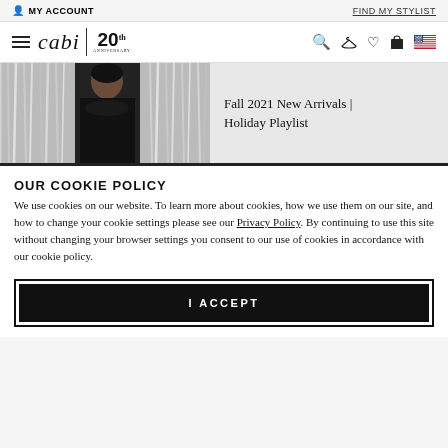MY ACCOUNT    FIND MY STYLIST
[Figure (screenshot): Cabi 20th Anniversary logo with hamburger menu, search, hanger, heart, bag, and US flag icons in navigation bar]
[Figure (photo): Person wearing black outfit with silver tinsel/curtain background, with text overlay: Fall 2021 New Arrivals | Holiday Playlist]
OUR COOKIE POLICY
We use cookies on our website. To learn more about cookies, how we use them on our site, and how to change your cookie settings please see our Privacy Policy. By continuing to use this site without changing your browser settings you consent to our use of cookies in accordance with our cookie policy.
I ACCEPT